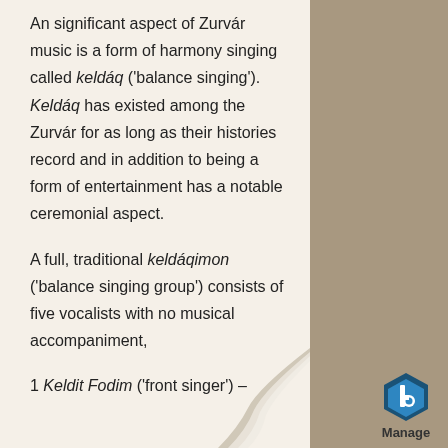An significant aspect of Zurvár music is a form of harmony singing called keldáq ('balance singing'). Keldáq has existed among the Zurvár for as long as their histories record and in addition to being a form of entertainment has a notable ceremonial aspect.
A full, traditional keldáqimon ('balance singing group') consists of five vocalists with no musical accompaniment,
1 Keldit Fodim ('front singer') –